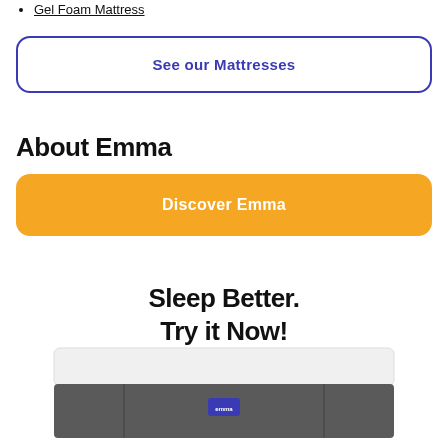Gel Foam Mattress
See our Mattresses
About Emma
Discover Emma
Sleep Better.
Try it Now!
[Figure (illustration): Illustration of an Emma mattress showing white top layer and dark grey base with blue logo tab in the center]